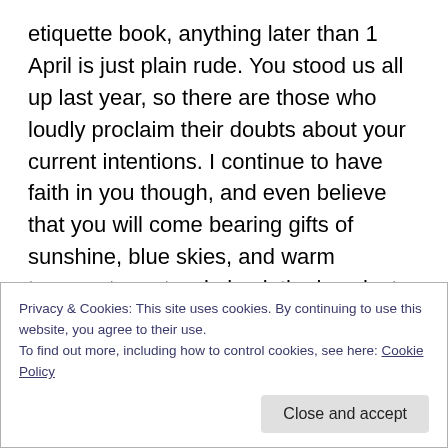etiquette book, anything later than 1 April is just plain rude. You stood us all up last year, so there are those who loudly proclaim their doubts about your current intentions. I continue to have faith in you though, and even believe that you will come bearing gifts of sunshine, blue skies, and warm temperatures to win back the love lost by last year's unexcused absence.

Don't let me down, Spring. This is my last opportunity to experience your pleasant nature on this side of the pond. I'd sure hate to have to go back to the US and perpetuate
Privacy & Cookies: This site uses cookies. By continuing to use this website, you agree to their use.
To find out more, including how to control cookies, see here: Cookie Policy
Close and accept